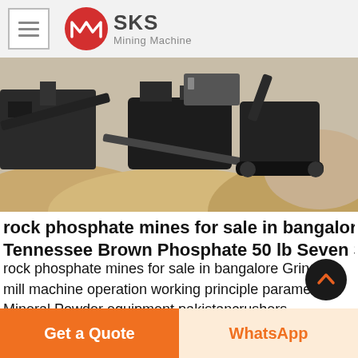SKS Mining Machine
[Figure (photo): Mining equipment and machinery at a quarry or open-pit mine site with piles of crushed stone and gravel]
rock phosphate mines for sale in bangalore Tennessee Brown Phosphate 50 lb Seven Springs
rock phosphate mines for sale in bangalore Grinding mill machine operation working principle parameter Mineral Powder equipment pakistancrushers Tennessee Brown Phosphate mining high grade ore to make Super Pho or
Get a Quote
WhatsApp